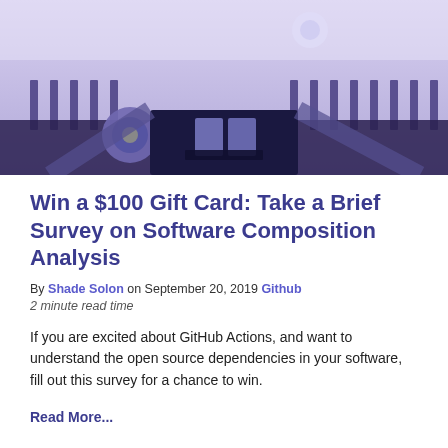[Figure (photo): Close-up of a purple-tinted typewriter mechanism showing keys and typebars from above]
Win a $100 Gift Card: Take a Brief Survey on Software Composition Analysis
By Shade Solon on September 20, 2019 Github
2 minute read time
If you are excited about GitHub Actions, and want to understand the open source dependencies in your software, fill out this survey for a chance to win.
Read More...